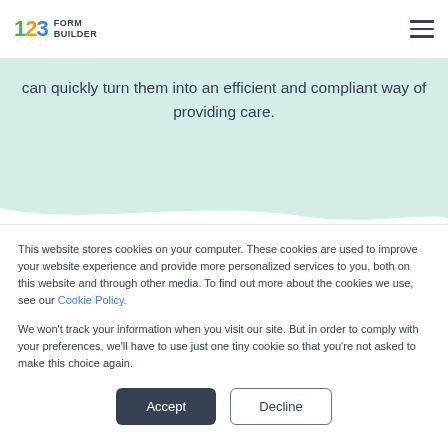123 FORM BUILDER
can quickly turn them into an efficient and compliant way of providing care.
This website stores cookies on your computer. These cookies are used to improve your website experience and provide more personalized services to you, both on this website and through other media. To find out more about the cookies we use, see our Cookie Policy.
We won't track your information when you visit our site. But in order to comply with your preferences, we'll have to use just one tiny cookie so that you're not asked to make this choice again.